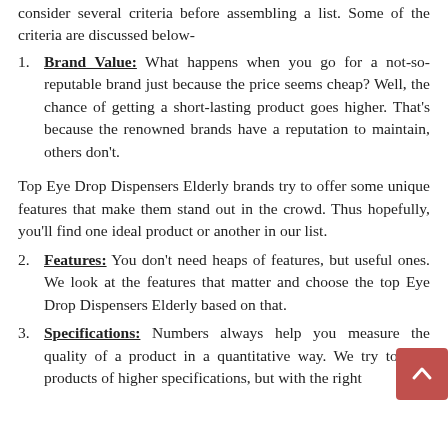consider several criteria before assembling a list. Some of the criteria are discussed below-
Brand Value: What happens when you go for a not-so-reputable brand just because the price seems cheap? Well, the chance of getting a short-lasting product goes higher. That's because the renowned brands have a reputation to maintain, others don't.
Top Eye Drop Dispensers Elderly brands try to offer some unique features that make them stand out in the crowd. Thus hopefully, you'll find one ideal product or another in our list.
Features: You don't need heaps of features, but useful ones. We look at the features that matter and choose the top Eye Drop Dispensers Elderly based on that.
Specifications: Numbers always help you measure the quality of a product in a quantitative way. We try to find products of higher specifications, but with the right